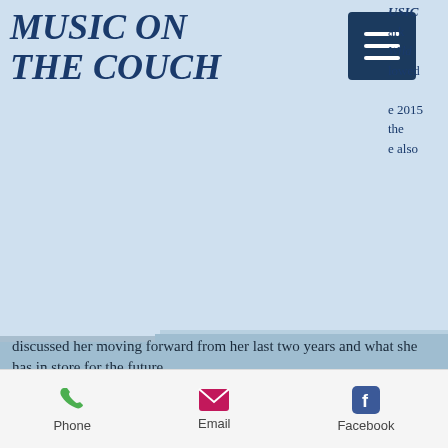MUSIC ON THE COUCH
discussed her moving forward from her last two years and what she has in store for the future.
WEB SITE    FACEBOOK PAGE
DENNIS GRUENLING - COUCH KID NEW MUSIC
Segment Begins At The 1:27:00 Mark Dennis returned to The Couch with his brand new release, Ready Or Not. The all-original album features Doug Deming and The Jeweltones behind Dennis. In addition, Dennis is taking a step forward to the mic and is singing on these new tunes.
Phone   Email   Facebook